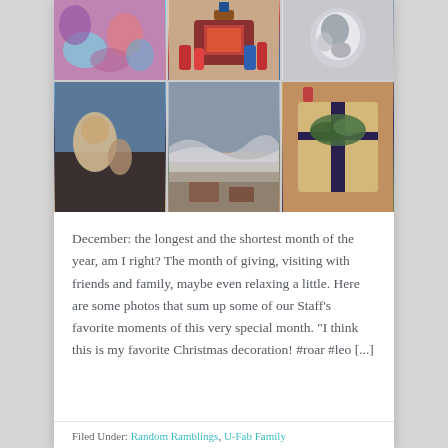[Figure (photo): A 2x3 grid of 6 Instagram-style photos including colorful spools of thread, a fireplace with Christmas stockings, a dog, a woman holding a child, an ocean beach scene, and a gift box with a ribbon and greenery]
December: the longest and the shortest month of the year, am I right? The month of giving, visiting with friends and family, maybe even relaxing a little. Here are some photos that sum up some of our Staff's favorite moments of this very special month. "I think this is my favorite Christmas decoration! #roar #leo [...]
Filed Under: Random Ramblings, U-Fab Family